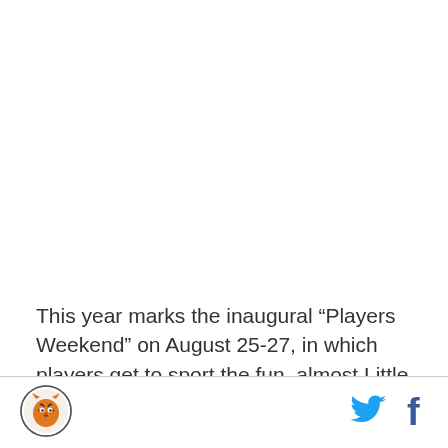This year marks the inaugural “Players Weekend” on August 25-27, in which players get to sport the fun, almost Little League inspired jerseys, which they were allowed to customize with a nickname of their choice.
[Figure (logo): Circular sports team logo with a tiger illustration in orange, black, and white]
[Figure (logo): Twitter bird icon in cyan/blue]
[Figure (logo): Facebook 'f' icon in dark blue]